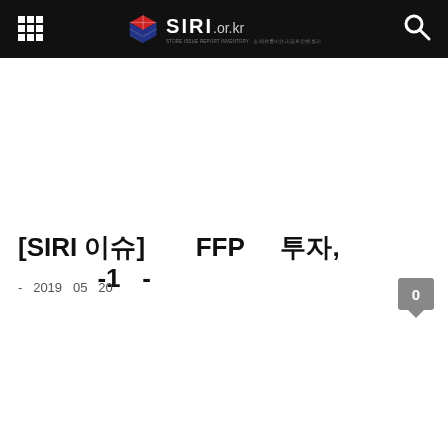SIRI.or.kr
[SIRI 이슈] FFP 투자, -1 -
- 2019 05 20